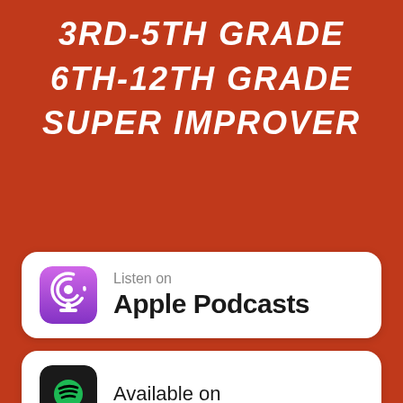3RD-5TH GRADE
6TH-12TH GRADE
SUPER IMPROVER
[Figure (logo): Apple Podcasts badge with purple podcast icon and text 'Listen on Apple Podcasts' on white rounded rectangle]
[Figure (logo): Spotify badge with dark Spotify icon and text 'Available on' on white rounded rectangle, partially visible]